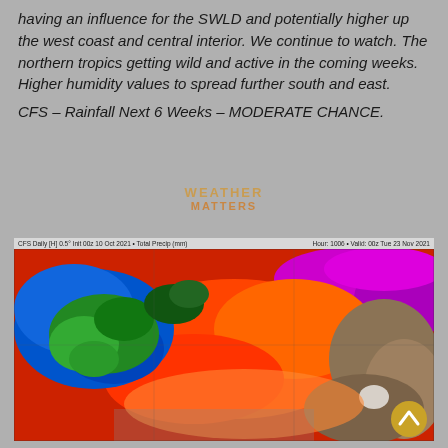having an influence for the SWLD and potentially higher up the west coast and central interior. We continue to watch. The northern tropics getting wild and active in the coming weeks. Higher humidity values to spread further south and east.
CFS – Rainfall Next 6 Weeks – MODERATE CHANCE.
[Figure (map): CFS Daily rainfall forecast map of Australia showing total precipitation in mm. Init: 00z 10 Oct 2021, Valid: 00z Tue 23 Nov 2021. Map shows red/orange dominating central and eastern Australia, green/blue patches over northwest, purple over northeast and top, with a scroll-up button overlay.]